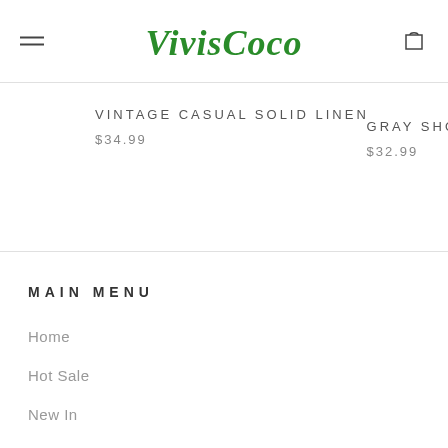VivisCoco
VINTAGE CASUAL SOLID LINEN
$34.99
GRAY SHO
$32.99
MAIN MENU
Home
Hot Sale
New In
Dresses
Tops